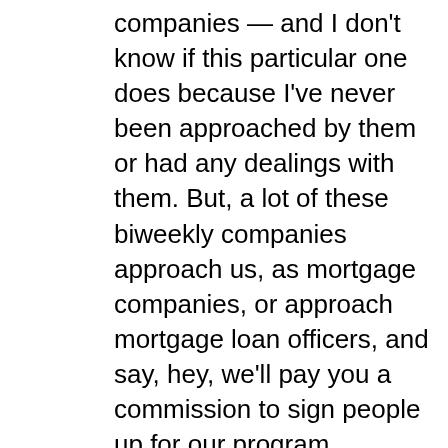companies — and I don't know if this particular one does because I've never been approached by them or had any dealings with them. But, a lot of these biweekly companies approach us, as mortgage companies, or approach mortgage loan officers, and say, hey, we'll pay you a commission to sign people up for our program.
No!
So now, the loan officer says, well, I could give them the Robert Palmer's 45 second free tutorial on how to make biweekly payments, or I can sign them up with biweeklyinternational.com and make couple hundred bucks. And this is where the greed comes in. This is the part the